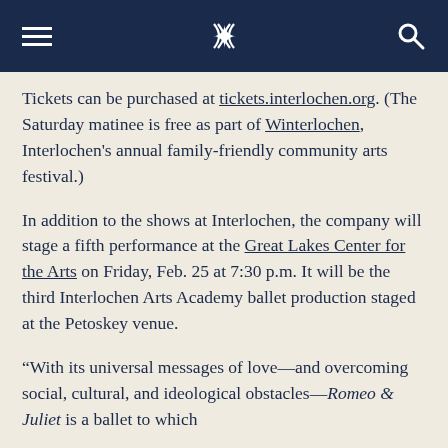Interlochen Arts Academy — navigation header
Tickets can be purchased at tickets.interlochen.org. (The Saturday matinee is free as part of Winterlochen, Interlochen's annual family-friendly community arts festival.)
In addition to the shows at Interlochen, the company will stage a fifth performance at the Great Lakes Center for the Arts on Friday, Feb. 25 at 7:30 p.m. It will be the third Interlochen Arts Academy ballet production staged at the Petoskey venue.
“With its universal messages of love—and overcoming social, cultural, and ideological obstacles—Romeo & Juliet is a ballet to which